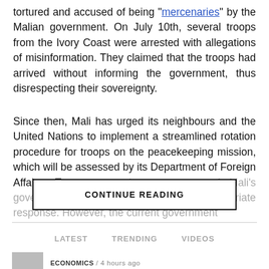tortured and accused of being "mercenaries" by the Malian government. On July 10th, several troops from the Ivory Coast were arrested with allegations of misinformation. They claimed that the troops had arrived without informing the government, thus disrespecting their sovereignty.
Since then, Mali has urged its neighbours and the United Nations to implement a streamlined rotation procedure for troops on the peacekeeping mission, which will be assessed by its Department of Foreign Affairs. To preserve the supremacy of Mali's government this appears to be an appropriate response. However, the current government...
CONTINUE READING
LATEST   TRENDING   VIDEOS
ECONOMICS / 4 hours ago